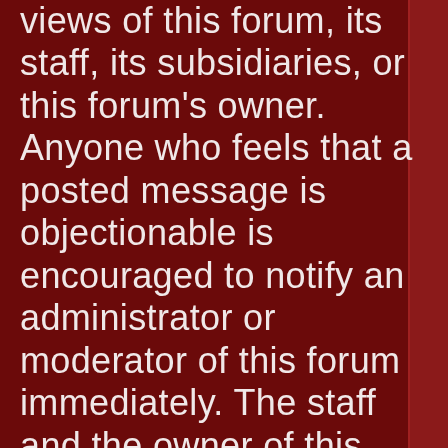views of this forum, its staff, its subsidiaries, or this forum's owner. Anyone who feels that a posted message is objectionable is encouraged to notify an administrator or moderator of this forum immediately. The staff and the owner of this forum reserve the right to remove objectionable content, within a reasonable time frame, if they determine that removal is necessary. This is a manual process, however, please realize that they may not be able to remove or edit particular messages immediately. This policy applies to